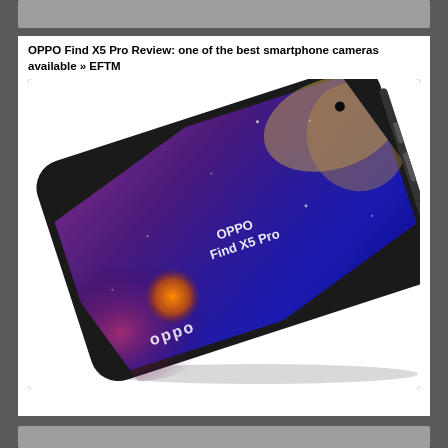OPPO Find X5 Pro Review: one of the best smartphone cameras available » EFTM
[Figure (photo): OPPO Find X5 Pro smartphone lying flat at an angle, displaying a purple/blue cosmic galaxy wallpaper with orange nebula detail. The phone is shown from a top-down angled perspective with the OPPO logo on screen and 'OPPO Find X5 Pro' text displayed on the screen. The device has slim bezels and a punch-hole camera.]